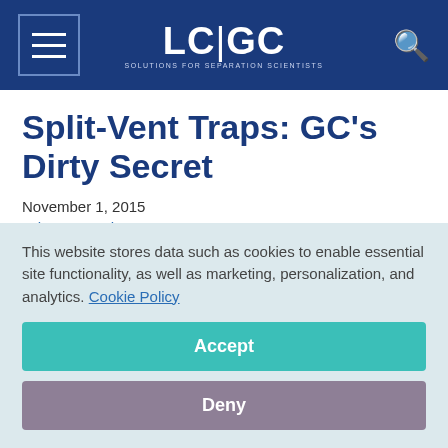LC|GC — Solutions for Separation Scientists
Split-Vent Traps: GC's Dirty Secret
November 1, 2015
John V. Henshaw
LCGC Asia Pacific
LCGC Asia Pacific, LCGC Asia Pacific-11-01-2015, Volume
This website stores data such as cookies to enable essential site functionality, as well as marketing, personalization, and analytics. Cookie Policy
Accept
Deny